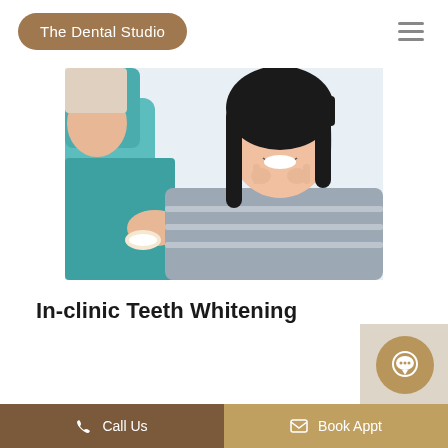The Dental Studio
[Figure (photo): A smiling young Asian woman in a dental chair pointing at her teeth, while a dental professional in a teal uniform holds a dental model. The patient is wearing a grey sweater.]
In-clinic Teeth Whitening
Call Us   Book Appt